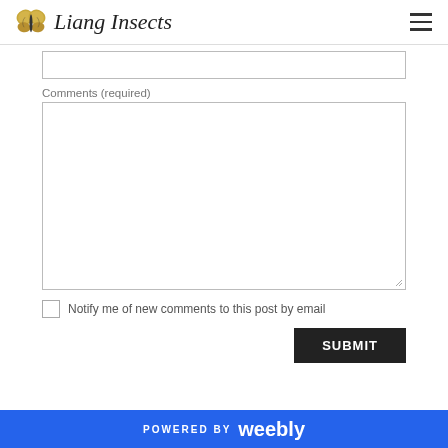Liang Insects
Comments (required)
Notify me of new comments to this post by email
SUBMIT
POWERED BY weebly